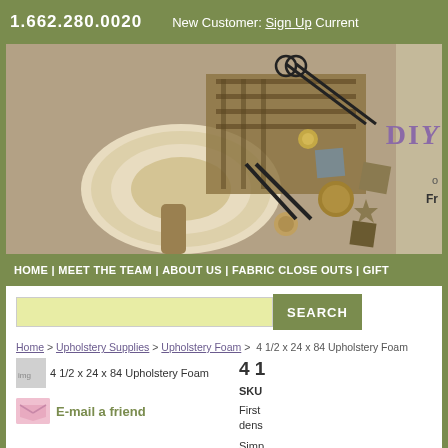1.662.280.0020   New Customer: Sign Up Current
[Figure (photo): Banner image showing upholstery supplies including rolled fabric, plaid cloth, scissors, decorative tacks, buttons, and sewing tools. DIY logo text visible on right side.]
HOME | MEET THE TEAM | ABOUT US | FABRIC CLOSE OUTS | GIFT
SEARCH
Home > Upholstery Supplies > Upholstery Foam > 4 1/2 x 24 x 84 Upholstery Foam
4 1/2 x 24 x 84 Upholstery Foam
4 1
E-mail a friend
SKU
First density
Simp
Rea